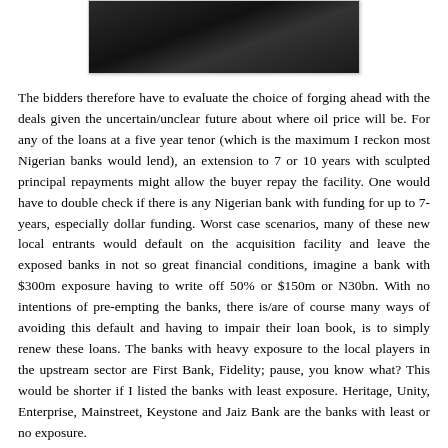[Figure (photo): Partial photograph of a person, cropped at top of page, dark tones]
The bidders therefore have to evaluate the choice of forging ahead with the deals given the uncertain/unclear future about where oil price will be. For any of the loans at a five year tenor (which is the maximum I reckon most Nigerian banks would lend), an extension to 7 or 10 years with sculpted principal repayments might allow the buyer repay the facility. One would have to double check if there is any Nigerian bank with funding for up to 7-years, especially dollar funding. Worst case scenarios, many of these new local entrants would default on the acquisition facility and leave the exposed banks in not so great financial conditions, imagine a bank with $300m exposure having to write off 50% or $150m or N30bn. With no intentions of pre-empting the banks, there is/are of course many ways of avoiding this default and having to impair their loan book, is to simply renew these loans. The banks with heavy exposure to the local players in the upstream sector are First Bank, Fidelity; pause, you know what? This would be shorter if I listed the banks with least exposure. Heritage, Unity, Enterprise, Mainstreet, Keystone and Jaiz Bank are the banks with least or no exposure.